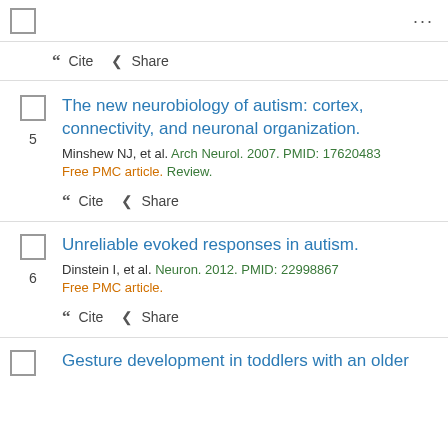[Figure (screenshot): Checkbox and ellipsis menu top bar]
Cite  Share
5. The new neurobiology of autism: cortex, connectivity, and neuronal organization. Minshew NJ, et al. Arch Neurol. 2007. PMID: 17620483. Free PMC article. Review. Cite Share
6. Unreliable evoked responses in autism. Dinstein I, et al. Neuron. 2012. PMID: 22998867. Free PMC article. Cite Share
Gesture development in toddlers with an older